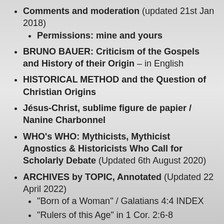Comments and moderation (updated 21st Jan 2018)
Permissions: mine and yours
BRUNO BAUER: Criticism of the Gospels and History of their Origin – in English
HISTORICAL METHOD and the Question of Christian Origins
Jésus-Christ, sublime figure de papier / Nanine Charbonnel
WHO's WHO: Mythicists, Mythicist Agnostics & Historicists Who Call for Scholarly Debate (Updated 6th August 2020)
ARCHIVES by TOPIC, Annotated (Updated 22 April 2022)
"Born of a Woman" / Galatians 4:4 INDEX
"Rulers of this Age" in 1 Cor. 2:6-8